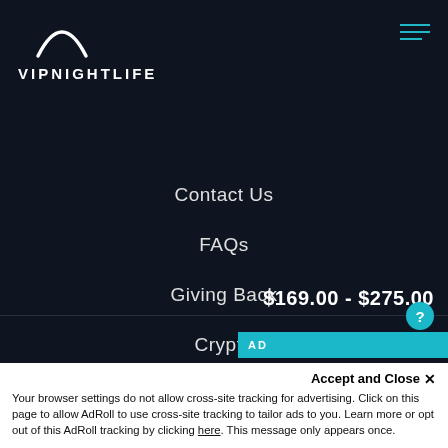[Figure (logo): VIP Nightlife logo — white crescent moon arc above text 'VIPNIGHTLIFE' in white bold spaced letters]
Contact Us
FAQs
Giving Back
Crypto
[Figure (other): Social media icons row: Facebook (f), Instagram (circle camera), YouTube (play button) in teal/white]
$169.00 - $275.00
Accept and Close ✕
Your browser settings do not allow cross-site tracking for advertising. Click on this page to allow AdRoll to use cross-site tracking to tailor ads to you. Learn more or opt out of this AdRoll tracking by clicking here. This message only appears once.